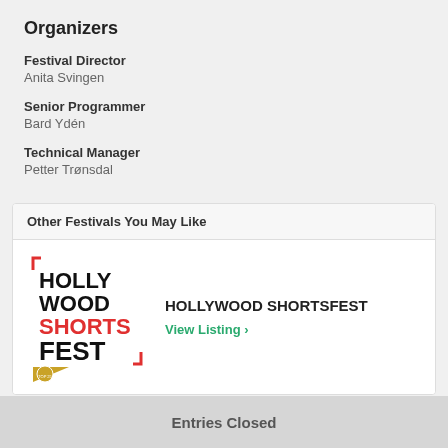Organizers
Festival Director
Anita Svingen
Senior Programmer
Bard Ydén
Technical Manager
Petter Trønsdal
Other Festivals You May Like
[Figure (logo): Hollywood Shortsfest logo with red and black bold text on white background with gold corner accent]
HOLLYWOOD SHORTSFEST
View Listing >
Entries Closed